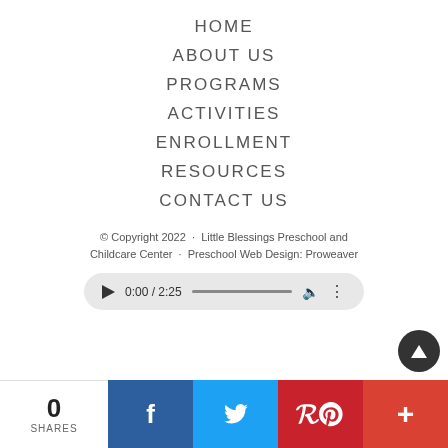HOME
ABOUT US
PROGRAMS
ACTIVITIES
ENROLLMENT
RESOURCES
CONTACT US
© Copyright 2022 · Little Blessings Preschool and Childcare Center · Preschool Web Design: Proweaver
[Figure (screenshot): Audio player widget showing 0:00 / 2:25 with progress bar, volume and options icons]
0  SHARES
[Figure (infographic): Social share bar with Facebook, Twitter, Pinterest, and More buttons]